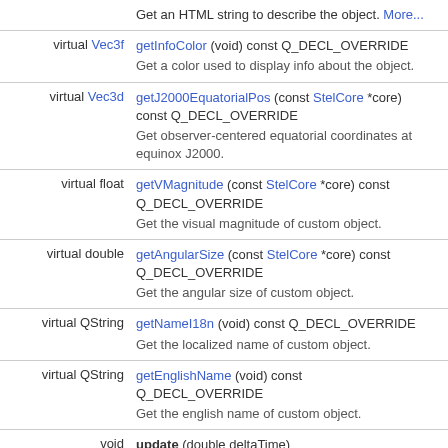| Type | Method / Description |
| --- | --- |
|  | Get an HTML string to describe the object. More... |
| virtual Vec3f | getInfoColor (void) const Q_DECL_OVERRIDE
Get a color used to display info about the object. |
| virtual Vec3d | getJ2000EquatorialPos (const StelCore *core) const Q_DECL_OVERRIDE
Get observer-centered equatorial coordinates at equinox J2000. |
| virtual float | getVMagnitude (const StelCore *core) const Q_DECL_OVERRIDE
Get the visual magnitude of custom object. |
| virtual double | getAngularSize (const StelCore *core) const Q_DECL_OVERRIDE
Get the angular size of custom object. |
| virtual QString | getNameI18n (void) const Q_DECL_OVERRIDE
Get the localized name of custom object. |
| virtual QString | getEnglishName (void) const Q_DECL_OVERRIDE
Get the english name of custom object. |
| void | update (double deltaTime) |